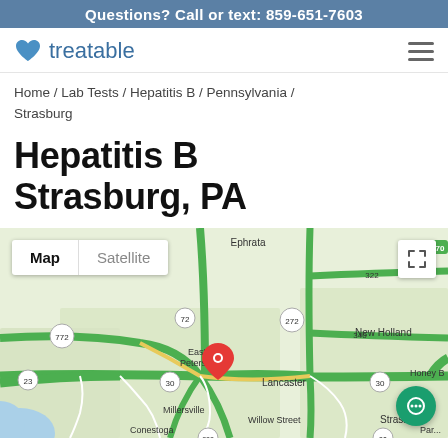Questions? Call or text: 859-651-7603
[Figure (logo): Treatable logo with blue heart icon and 'treatable' text in blue, hamburger menu icon on right]
Home / Lab Tests / Hepatitis B / Pennsylvania / Strasburg
Hepatitis B Strasburg, PA
[Figure (map): Google Maps showing Strasburg PA area with surrounding towns including Ephrata, New Holland, Honey Brook, East Petersburg, Lancaster, Ronks, Millersville, Willow Street, Strasburg, Gap, Conestoga, Parkesburg. Map/Satellite toggle visible. Red location pin on East Petersburg area. Green roads including routes 772, 72, 272, 322, 340, 23, 30. Green chat button bottom right.]